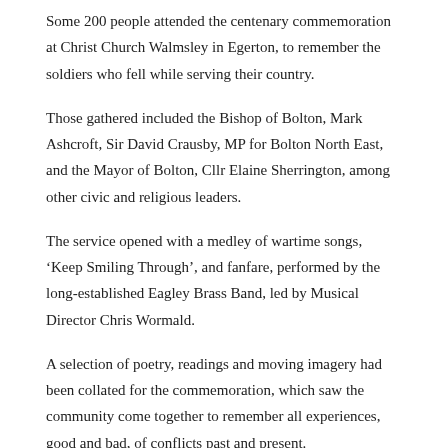Some 200 people attended the centenary commemoration at Christ Church Walmsley in Egerton, to remember the soldiers who fell while serving their country.
Those gathered included the Bishop of Bolton, Mark Ashcroft, Sir David Crausby, MP for Bolton North East, and the Mayor of Bolton, Cllr Elaine Sherrington, among other civic and religious leaders.
The service opened with a medley of wartime songs, ‘Keep Smiling Through’, and fanfare, performed by the long-established Eagley Brass Band, led by Musical Director Chris Wormald.
A selection of poetry, readings and moving imagery had been collated for the commemoration, which saw the community come together to remember all experiences, good and bad, of conflicts past and present.
The service featured true stories of courage and bravery, contributed by families living in Bromley Cross.